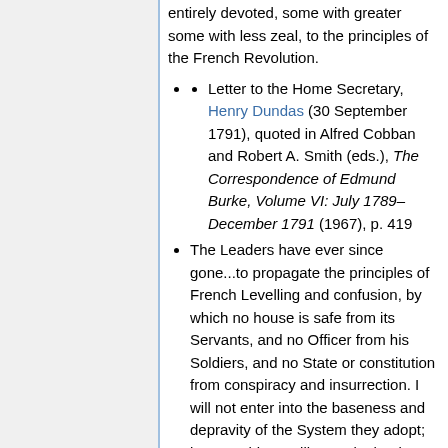entirely devoted, some with greater some with less zeal, to the principles of the French Revolution.
Letter to the Home Secretary, Henry Dundas (30 September 1791), quoted in Alfred Cobban and Robert A. Smith (eds.), The Correspondence of Edmund Burke, Volume VI: July 1789–December 1791 (1967), p. 419
The Leaders have ever since gone...to propagate the principles of French Levelling and confusion, by which no house is safe from its Servants, and no Officer from his Soldiers, and no State or constitution from conspiracy and insurrection. I will not enter into the baseness and depravity of the System they adopt; but one thing I will remark, that its